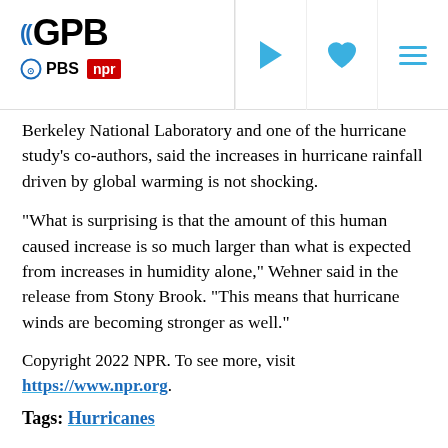GPB | PBS | NPR — navigation header
Berkeley National Laboratory and one of the hurricane study's co-authors, said the increases in hurricane rainfall driven by global warming is not shocking.
"What is surprising is that the amount of this human caused increase is so much larger than what is expected from increases in humidity alone," Wehner said in the release from Stony Brook. "This means that hurricane winds are becoming stronger as well."
Copyright 2022 NPR. To see more, visit https://www.npr.org.
Tags: Hurricanes